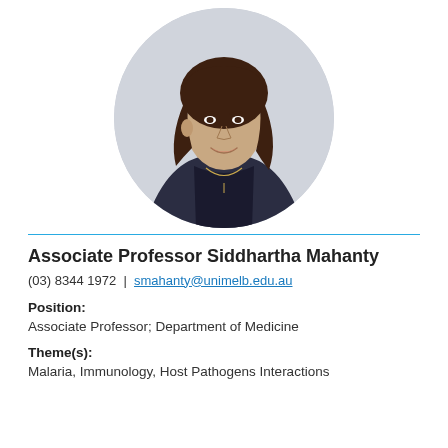[Figure (photo): Circular portrait photo of Associate Professor Siddhartha Mahanty, a woman with brown hair wearing a dark navy blazer and black top with a gold chain necklace, smiling]
Associate Professor Siddhartha Mahanty
(03) 8344 1972  |  smahanty@unimelb.edu.au
Position:
Associate Professor; Department of Medicine
Theme(s):
Malaria, Immunology, Host Pathogens Interactions